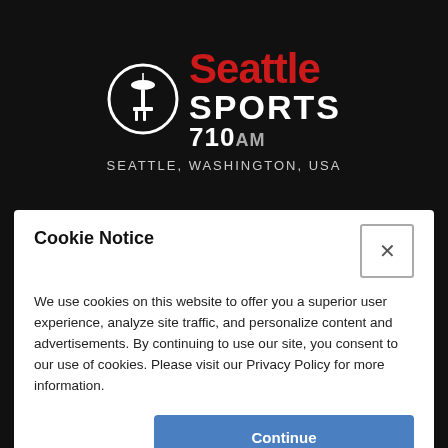[Figure (logo): Seattle Sports 710AM radio station logo with Space Needle icon in white circle on black background, 'Seattle' in red bold text, 'SPORTS' in white bold text, '710AM' below, and 'SEATTLE, WASHINGTON, USA' subtitle]
Cookie Notice
We use cookies on this website to offer you a superior user experience, analyze site traffic, and personalize content and advertisements. By continuing to use our site, you consent to our use of cookies. Please visit our Privacy Policy for more information.